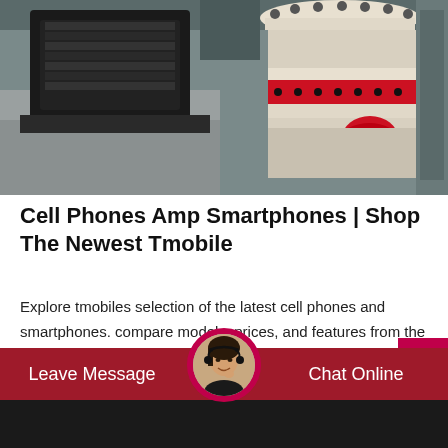[Figure (photo): Industrial machinery photo showing a large electric motor and white/red cylindrical grinding or milling machine component on a concrete base, photographed indoors.]
Cell Phones Amp Smartphones | Shop The Newest Tmobile
Explore tmobiles selection of the latest cell phones and smartphones. compare models, prices, and features from the most popular brands today!
[Figure (photo): Customer service agent avatar — woman wearing headset, circular photo used as chat widget icon with crimson border.]